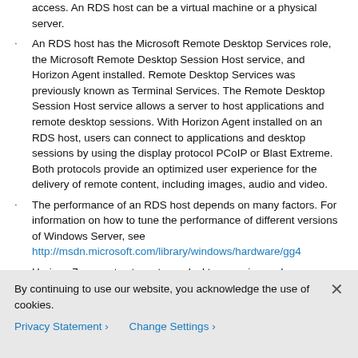access. An RDS host can be a virtual machine or a physical server.
An RDS host has the Microsoft Remote Desktop Services role, the Microsoft Remote Desktop Session Host service, and Horizon Agent installed. Remote Desktop Services was previously known as Terminal Services. The Remote Desktop Session Host service allows a server to host applications and remote desktop sessions. With Horizon Agent installed on an RDS host, users can connect to applications and desktop sessions by using the display protocol PCoIP or Blast Extreme. Both protocols provide an optimized user experience for the delivery of remote content, including images, audio and video.
The performance of an RDS host depends on many factors. For information on how to tune the performance of different versions of Windows Server, see http://msdn.microsoft.com/library/windows/hardware/gg4
Horizon 7 supports at most one desktop session and one application session per user on an RDS host.
When users submit print jobs concurrently from RDS
By continuing to use our website, you acknowledge the use of cookies.
Privacy Statement >  Change Settings >